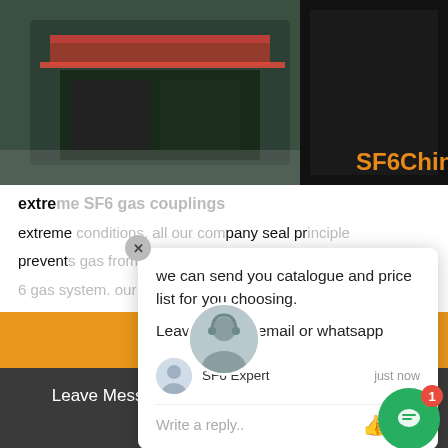[Figure (photo): Industrial equipment/machine photo with dark green and red tones, SF6China logo watermark in orange in bottom right]
extreme SF6 gas couplings
extreme conditions. all our company seal principle prevents gas from penetrating the SF6 gas system. our company couplings eliminate the loss caused by incorrect gas handling. Thanks to their reliability and durability our company couplings are the world's most widely used connecting system for SF 6 switchgear. Advantages of application
[Figure (screenshot): Chat popup overlay with message: 'we can send you catalogue and price list for you choosing. Leave us your email or whatsapp' with SF6 Expert agent name and just now timestamp, write a reply input area]
[Figure (other): Green chat bubble button with red notification badge showing 1]
Get Price
Leave Message
Chat Online